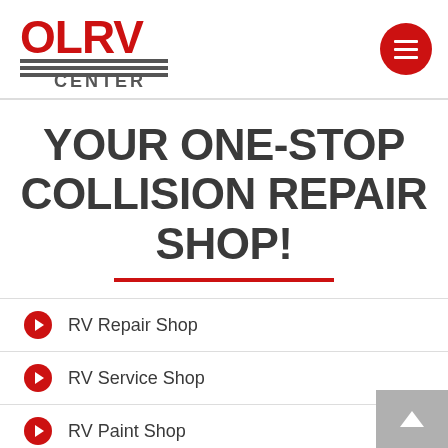[Figure (logo): OLRV Center logo with red letters and gray horizontal lines above 'CENTER' text]
YOUR ONE-STOP COLLISION REPAIR SHOP!
RV Repair Shop
RV Service Shop
RV Paint Shop
RV Body Shop
RV Mechanics